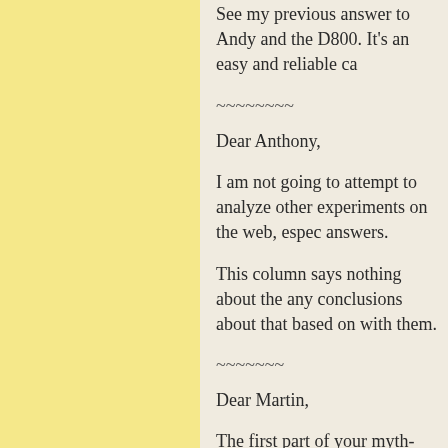See my previous answer to Andy and the D800. It's an easy and reliable ca
~~~~~~~~
Dear Anthony,
I am not going to attempt to analyze other experiments on the web, espe answers.
This column says nothing about the any conclusions about that based on with them.
~~~~~~~
Dear Martin,
The first part of your myth-busting i good 6th Myth.
The second part is much more comp and I have done Depth of Field to d